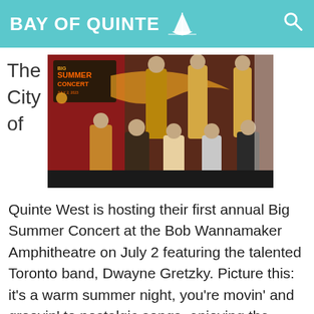BAY OF QUINTE
The City of
[Figure (photo): Big Summer Concert promotional photo featuring the band Dwayne Gretzky, July 2, 2023, at Bob Wannamaker Amphitheatre. Group of musicians posed in front of a red door with concert poster.]
Quinte West is hosting their first annual Big Summer Concert at the Bob Wannamaker Amphitheatre on July 2 featuring the talented Toronto band, Dwayne Gretzky. Picture this: it’s a warm summer night, you’re movin’ and groovin’ to nostalgic songs, enjoying the fresh air by the bay as the sun starts to go down. We know we’ll be